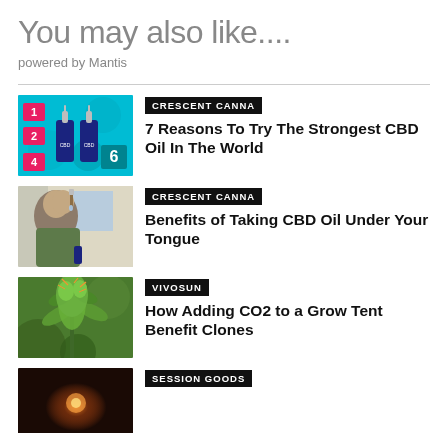You may also like....
powered by Mantis
[Figure (photo): CBD oil dropper bottles with numbered backdrop (teal background)]
CRESCENT CANNA
7 Reasons To Try The Strongest CBD Oil In The World
[Figure (photo): Man taking CBD oil drops under his tongue]
CRESCENT CANNA
Benefits of Taking CBD Oil Under Your Tongue
[Figure (photo): Cannabis plant close-up with green buds]
VIVOSUN
How Adding CO2 to a Grow Tent Benefit Clones
[Figure (photo): Dark atmospheric photo with warm glowing light]
SESSION GOODS